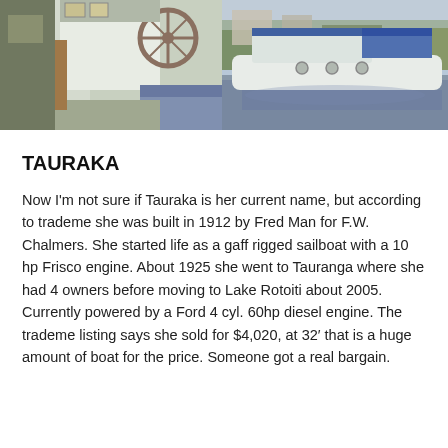[Figure (photo): Two photos side by side: left photo shows interior cabin of a boat with wood paneling, steering wheel, and seating. Right photo shows the exterior of a white motor boat moored on calm water with trees and buildings in the background.]
TAURAKA
Now I'm not sure if Tauraka is her current name, but according to trademe she was built in 1912 by Fred Man for F.W. Chalmers.  She started life as a gaff rigged sailboat with a 10 hp Frisco engine. About 1925 she went to Tauranga where she had 4 owners before moving to Lake Rotoiti about 2005.  Currently powered by a Ford 4 cyl. 60hp diesel engine. The trademe listing says she sold for $4,020,  at 32’ that is a huge amount of boat for the price. Someone got a real bargain.